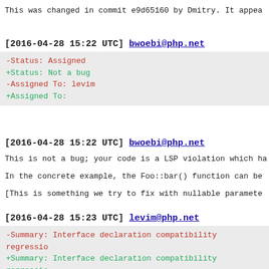This was changed in commit e9d65160 by Dmitry. It appea
[2016-04-28 15:22 UTC] bwoebi@php.net
-Status: Assigned
+Status: Not a bug
-Assigned To: levim
+Assigned To:
[2016-04-28 15:22 UTC] bwoebi@php.net
This is not a bug; your code is a LSP violation which ha
In the concrete example, the Foo::bar() function can be
[This is something we try to fix with nullable paramete
[2016-04-28 15:23 UTC] levim@php.net
-Summary: Interface declaration compatibility regressio
+Summary: Interface declaration compatibility regressio
-Assigned To:
+Assigned To: levim